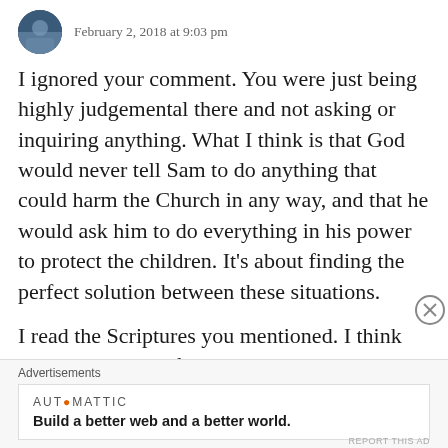February 2, 2018 at 9:03 pm
I ignored your comment. You were just being highly judgemental there and not asking or inquiring anything. What I think is that God would never tell Sam to do anything that could harm the Church in any way, and that he would ask him to do everything in his power to protect the children. It's about finding the perfect solution between these situations.
I read the Scriptures you mentioned. I think that there's a lot of things you don't understand yet. But that's just my opinion. I'm really not interested in having any discussion with you. I'm
Advertisements
AUTOMATTIC
Build a better web and a better world.